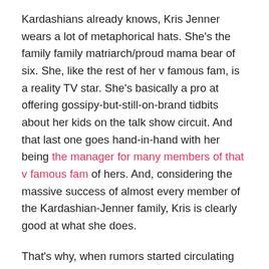Kardashians already knows, Kris Jenner wears a lot of metaphorical hats. She's the family family matriarch/proud mama bear of six. She, like the rest of her v famous fam, is a reality TV star. She's basically a pro at offering gossipy-but-still-on-brand tidbits about her kids on the talk show circuit. And that last one goes hand-in-hand with her being the manager for many members of that v famous fam of hers. And, considering the massive success of almost every member of the Kardashian-Jenner family, Kris is clearly good at what she does.
That's why, when rumors started circulating earlier this week that Kris was taking over managing duties for Kim Kardashian's boyfriend Pete Davidson, the goss seemed pretty plausible. According to Us Weekly, the rumor can be traced back to a TikTok video posted by Morgan's Pop